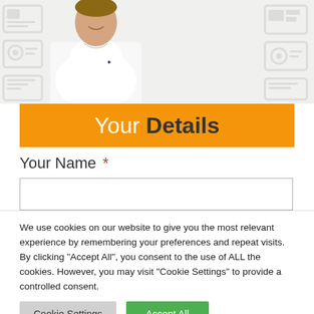[Figure (photo): Person wearing a white button-down shirt, upper body visible, with faded UI/app background icons on left and right sides]
Your Details
Your Name *
We use cookies on our website to give you the most relevant experience by remembering your preferences and repeat visits. By clicking "Accept All", you consent to the use of ALL the cookies. However, you may visit "Cookie Settings" to provide a controlled consent.
Cookie Settings | Accept All